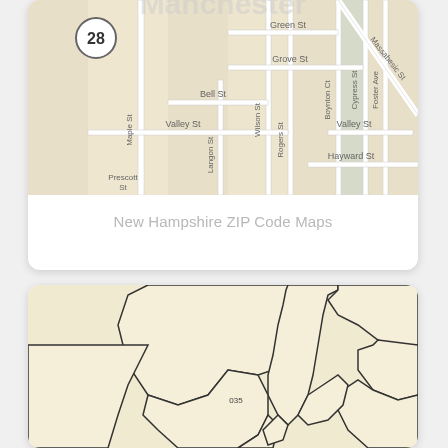[Figure (map): Street map showing Manchester NH area with streets labeled: Green St, Grove St, Bell St, Valley St, Maple St, Prescott, Hayward St, Boynton Ct, Cypress St, Foster Ave, Massabesic St, route marker 28, Wilson St, Rogers St, Langon St]
New Hampshire ZIP Code Maps
[Figure (map): New Hampshire ZIP code boundary map showing region outlines. ZIP code 035 is labeled in the central area. Map shows irregular polygon boundaries of ZIP code regions in cream/off-white color with dark outlines.]